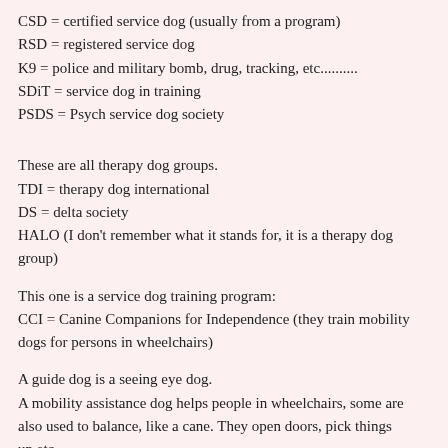CSD = certified service dog (usually from a program)
RSD = registered service dog
K9 = police and military bomb, drug, tracking, etc..........
SDiT = service dog in training
PSDS = Psych service dog society
These are all therapy dog groups.
TDI = therapy dog international
DS = delta society
HALO (I don't remember what it stands for, it is a therapy dog group)
This one is a service dog training program:
CCI = Canine Companions for Independence (they train mobility dogs for persons in wheelchairs)
A guide dog is a seeing eye dog.
A mobility assistance dog helps people in wheelchairs, some are also used to balance, like a cane. They open doors, pick things up,etc...............
A medical alert dog lets the owner know they are about to become